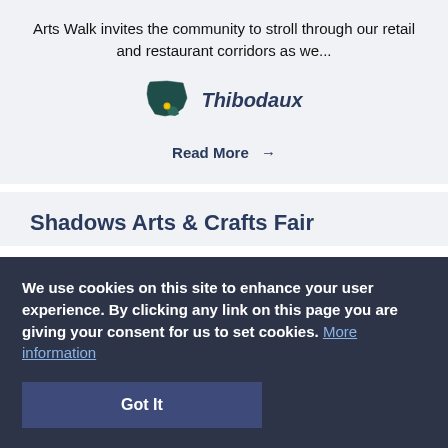Arts Walk invites the community to stroll through our retail and restaurant corridors as we...
[Figure (map): Louisiana state map silhouette with a yellow dot marking a location]
Thibodaux
Read More →
Shadows Arts & Crafts Fair
We use cookies on this site to enhance your user experience. By clicking any link on this page you are giving your consent for us to set cookies. More information
Got It